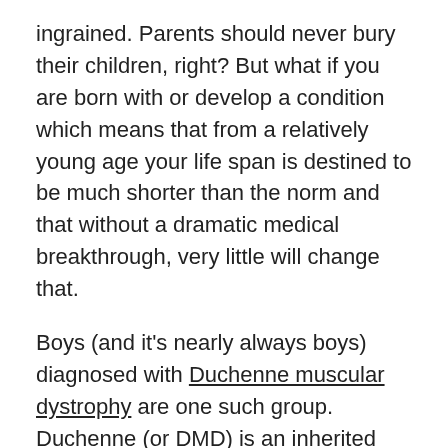ingrained. Parents should never bury their children, right? But what if you are born with or develop a condition which means that from a relatively young age your life span is destined to be much shorter than the norm and that without a dramatic medical breakthrough, very little will change that.
Boys (and it's nearly always boys) diagnosed with Duchenne muscular dystrophy are one such group. Duchenne (or DMD) is an inherited neuromuscular disease and the average age of death used to be 19 but during the last few years, with significant improvements in the ways DMD is managed, life expectancy has risen to around 27 years. There is currently no cure for DMD.
The Guardian recently reported on two fathers whose sons had been diagnosed with DMD. One, now rather